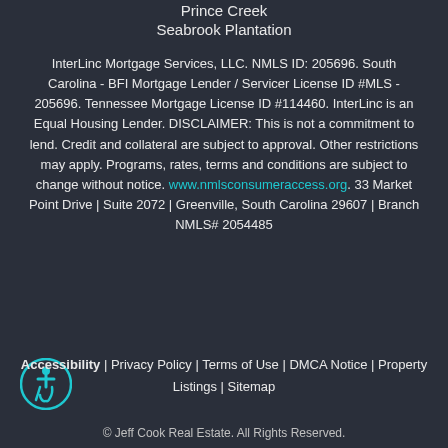Prince Creek
Seabrook Plantation
InterLinc Mortgage Services, LLC. NMLS ID: 205696. South Carolina - BFI Mortgage Lender / Servicer License ID #MLS - 205696. Tennessee Mortgage License ID #114460. InterLinc is an Equal Housing Lender. DISCLAIMER: This is not a commitment to lend. Credit and collateral are subject to approval. Other restrictions may apply. Programs, rates, terms and conditions are subject to change without notice. www.nmlsconsumeraccess.org. 33 Market Point Drive | Suite 2072 | Greenville, South Carolina 29607 | Branch NMLS# 2054485
Accessibility | Privacy Policy | Terms of Use | DMCA Notice | Property Listings | Sitemap
© Jeff Cook Real Estate. All Rights Reserved.